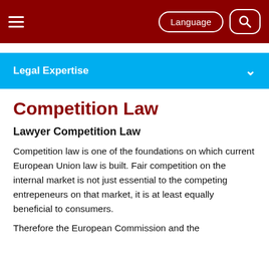Language [search]
Legal Expertise
Competition Law
Lawyer Competition Law
Competition law is one of the foundations on which current European Union law is built. Fair competition on the internal market is not just essential to the competing entrepeneurs on that market, it is at least equally beneficial to consumers.
Therefore the European Commission and the